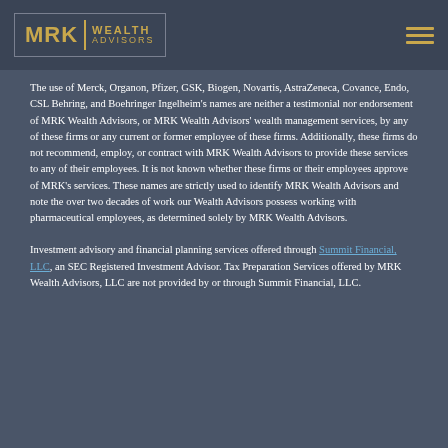[Figure (logo): MRK Wealth Advisors logo with gold text on dark background, with a menu icon on the right]
The use of Merck, Organon, Pfizer, GSK, Biogen, Novartis, AstraZeneca, Covance, Endo, CSL Behring, and Boehringer Ingelheim’s names are neither a testimonial nor endorsement of MRK Wealth Advisors, or MRK Wealth Advisors’ wealth management services, by any of these firms or any current or former employee of these firms. Additionally, these firms do not recommend, employ, or contract with MRK Wealth Advisors to provide these services to any of their employees. It is not known whether these firms or their employees approve of MRK’s services. These names are strictly used to identify MRK Wealth Advisors and note the over two decades of work our Wealth Advisors possess working with pharmaceutical employees, as determined solely by MRK Wealth Advisors.
Investment advisory and financial planning services offered through Summit Financial, LLC, an SEC Registered Investment Advisor. Tax Preparation Services offered by MRK Wealth Advisors, LLC are not provided by or through Summit Financial, LLC.